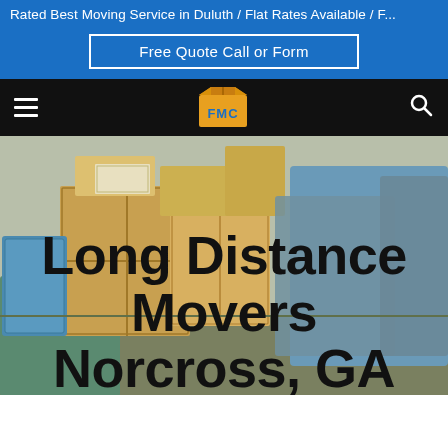Rated Best Moving Service in Duluth / Flat Rates Available / F...
Free Quote Call or Form
[Figure (logo): FMC moving company logo with boxes icon, letters F M C in blue and yellow on black background]
Long Distance Movers Norcross, GA
[Figure (photo): Moving truck interior filled with packed cardboard boxes, blue bins, and wrapped items]